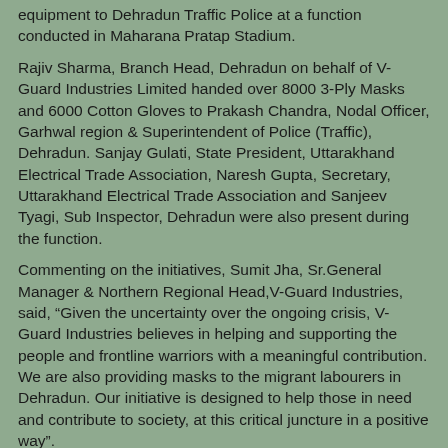equipment to Dehradun Traffic Police at a function conducted in Maharana Pratap Stadium.
Rajiv Sharma, Branch Head, Dehradun on behalf of V-Guard Industries Limited handed over 8000 3-Ply Masks and 6000 Cotton Gloves to Prakash Chandra, Nodal Officer, Garhwal region & Superintendent of Police (Traffic), Dehradun. Sanjay Gulati, State President, Uttarakhand Electrical Trade Association, Naresh Gupta, Secretary, Uttarakhand Electrical Trade Association and Sanjeev Tyagi, Sub Inspector, Dehradun were also present during the function.
Commenting on the initiatives, Sumit Jha, Sr.General Manager & Northern Regional Head, V-Guard Industries, said, “Given the uncertainty over the ongoing crisis, V-Guard Industries believes in helping and supporting the people and frontline warriors with a meaningful contribution. We are also providing masks to the migrant labourers in Dehradun. Our initiative is designed to help those in need and contribute to society, at this critical juncture in a positive way”.
editor-manu-sharma at 1:17 PM    No comments: